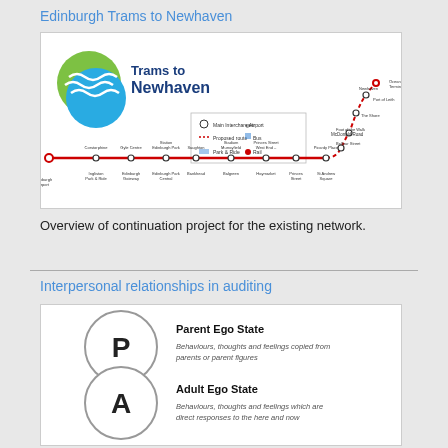Edinburgh Trams to Newhaven
[Figure (map): Trams to Newhaven route map showing the tram network from Edinburgh Airport to Newhaven/Ocean Terminal with stops including Corstorphine, Saughton, Edinburgh Park Station, Murrayfield Stadium, West End, Haymarket, Princes Street, St Andrew Square, Picardy Place, McDonald Road, Balfour Street, Foot of the Walk, The Shore, Port of Leith, Newhaven, Ocean Terminal. Legend shows Main Interchanges, Airport, Proposed route, Bus, Park & Ride, Rail. Logo shows 'Trams to Newhaven' with green and blue wave circles.]
Overview of continuation project for the existing network.
Interpersonal relationships in auditing
[Figure (infographic): Diagram of ego states showing overlapping circles. Parent Ego State circle with letter P: 'Behaviours, thoughts and feelings copied from parents or parent figures'. Adult Ego State circle with letter A: 'Behaviours, thoughts and feelings which are direct responses to the here and now'.]